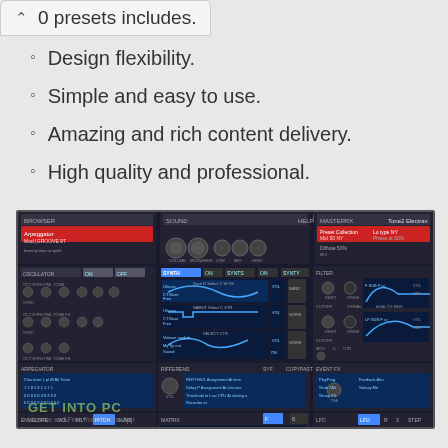0 presets includes.
Design flexibility.
Simple and easy to use.
Amazing and rich content delivery.
High quality and professional.
[Figure (screenshot): Screenshot of Tone2 Electrax synthesizer VST plugin interface showing oscillators, filter, arpeggiator, envelope, LFO, and effects sections with blue glowing displays and knobs on dark background. Watermark reads GET INTO PC.]